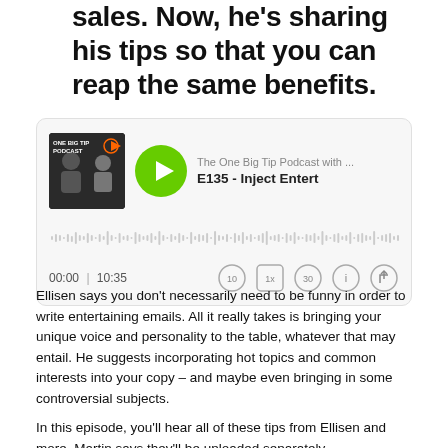sales. Now, he's sharing his tips so that you can reap the same benefits.
[Figure (screenshot): Embedded podcast player widget for 'The One Big Tip Podcast' showing episode E135 - Inject Entert... with a green play button, waveform visualization, time display 00:00 | 10:35, and playback controls (rewind 10, 1x speed, forward 30, info, share).]
Ellisen says you don't necessarily need to be funny in order to write entertaining emails. All it really takes is bringing your unique voice and personality to the table, whatever that may entail. He suggests incorporating hot topics and common interests into your copy – and maybe even bringing in some controversial subjects.
In this episode, you'll hear all of these tips from Ellisen and more. Martin says they'll be uploaded separately.